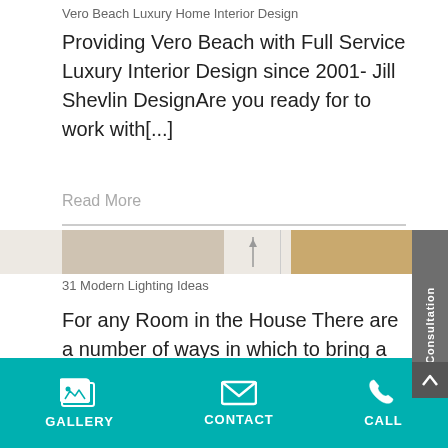Vero Beach Luxury Home Interior Design
Providing Vero Beach with Full Service Luxury Interior Design since 2001- Jill Shevlin DesignAre you ready for to work with[...]
Read More
[Figure (photo): Partial thumbnail strip showing lighting/interior image fragments]
31 Modern Lighting Ideas
For any Room in the House There are a number of ways in which to bring a touch of modern[...]
Read More
GALLERY   CONTACT   CALL